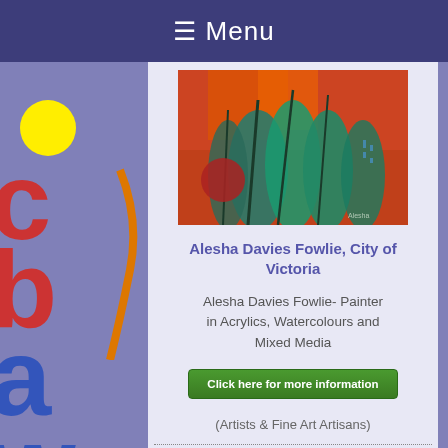☰ Menu
[Figure (photo): Abstract painting with teal, green, red and orange colors, featuring plant-like shapes]
Alesha Davies Fowlie, City of Victoria
Alesha Davies Fowlie- Painter in Acrylics, Watercolours and Mixed Media
Click here for more information
(Artists & Fine Art Artisans)